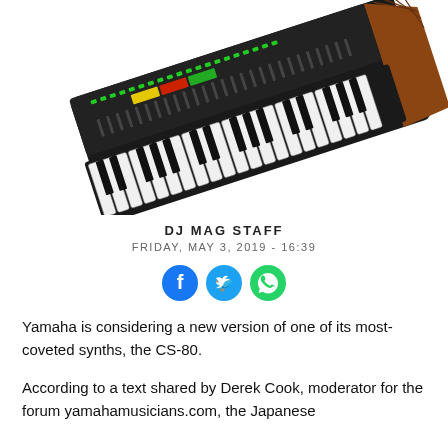[Figure (photo): Yamaha CS-80 synthesizer photographed at an angle on a white background, showing the keyboard, control panel with buttons and sliders, and wooden end panels]
DJ MAG STAFF
FRIDAY, MAY 3, 2019 - 16:39
[Figure (infographic): Social sharing icons: Facebook (blue circle), Twitter (blue circle), WhatsApp (green circle)]
Yamaha is considering a new version of one of its most-coveted synths, the CS-80.
According to a text shared by Derek Cook, moderator for the forum yamahamusicians.com, the Japanese